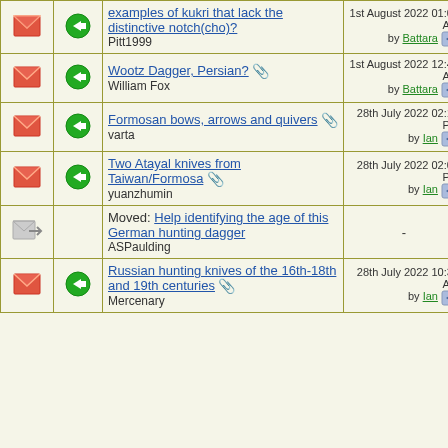|  |  | Topic | Last Post | Replies |
| --- | --- | --- | --- | --- |
| [envelope] | [arrow] | examples of kukri that lack the distinctive notch(cho)?
Pitt1999 | 1st August 2022 01:08 AM
by Battara | 17 |
| [envelope] | [arrow] | Wootz Dagger, Persian? [clip]
William Fox | 1st August 2022 12:46 AM
by Battara | 23 |
| [envelope] | [arrow] | Formosan bows, arrows and quivers [clip]
varta | 28th July 2022 02:10 PM
by Ian | 5 |
| [envelope] | [arrow] | Two Atayal knives from Taiwan/Formosa [clip]
yuanzhumin | 28th July 2022 02:05 PM
by Ian | 16 |
| [moved] |  | Moved: Help identifying the age of this German hunting dagger
ASPaulding | - | - |
| [envelope] | [arrow] | Russian hunting knives of the 16th-18th and 19th centuries [clip]
Mercenary | 28th July 2022 10:30 AM
by Ian | 16 |